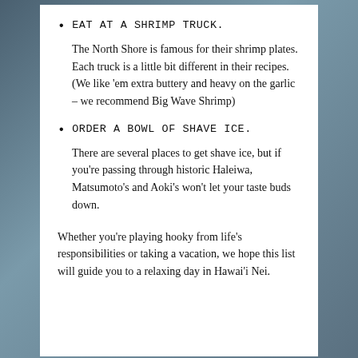EAT AT A SHRIMP TRUCK.
The North Shore is famous for their shrimp plates. Each truck is a little bit different in their recipes. (We like 'em extra buttery and heavy on the garlic – we recommend Big Wave Shrimp)
ORDER A BOWL OF SHAVE ICE.
There are several places to get shave ice, but if you're passing through historic Haleiwa, Matsumoto's and Aoki's won't let your taste buds down.
Whether you're playing hooky from life's responsibilities or taking a vacation, we hope this list will guide you to a relaxing day in Hawai'i Nei.